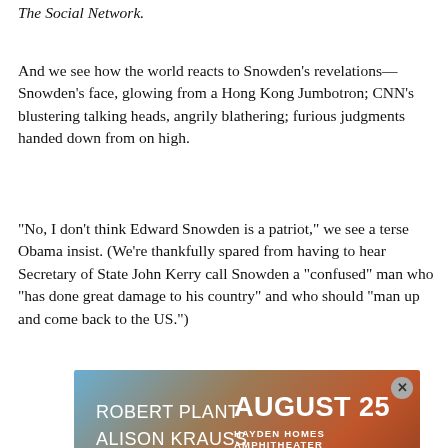The Social Network.
And we see how the world reacts to Snowden's revelations—Snowden's face, glowing from a Hong Kong Jumbotron; CNN's blustering talking heads, angrily blathering; furious judgments handed down from on high.
"No, I don't think Edward Snowden is a patriot," we see a terse Obama insist. (We're thankfully spared from having to hear Secretary of State John Kerry call Snowden a "confused" man who "has done great damage to his country" and who should "man up and come back to the US.")
It's a moment that, as strongly as any in the film, emphasizes the devastating one-two punch offered by Citizenfour and Greenwald's excellent book, "No Place
[Figure (infographic): Advertisement for Robert Plant and Alison Krauss concert on August 25 at Hayden Homes Amphitheater, with gradient background of blue to orange-red tones and a close button in the top right.]